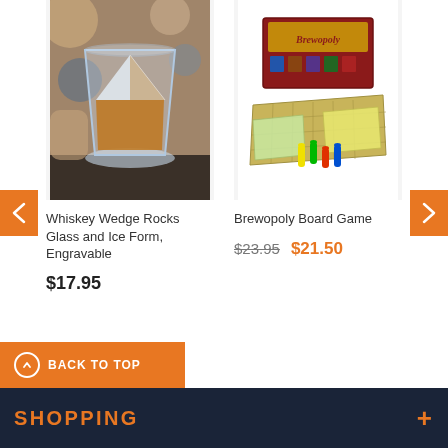[Figure (photo): Photo of a whiskey wedge rocks glass with amber whiskey and a wedge-shaped ice form, sitting on a surface with blurred warm background]
Whiskey Wedge Rocks Glass and Ice Form, Engravable
$17.95
[Figure (photo): Photo of Brewopoly board game box and game components including board, colorful bottle-shaped game pieces, and play money cards, on white background]
Brewopoly Board Game
$23.95  $21.50
BACK TO TOP
SHOPPING